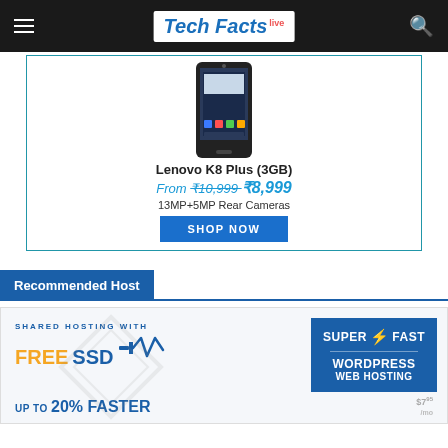Tech Facts Live
[Figure (screenshot): Lenovo K8 Plus (3GB) product advertisement banner. Shows phone image, price from ₹10,999 to ₹8,999, 13MP+5MP Rear Cameras, SHOP NOW button.]
Recommended Host
[Figure (screenshot): Shared Hosting with FREE SSD advertisement. Super Fast WordPress Web Hosting. UP TO 20% FASTER.]